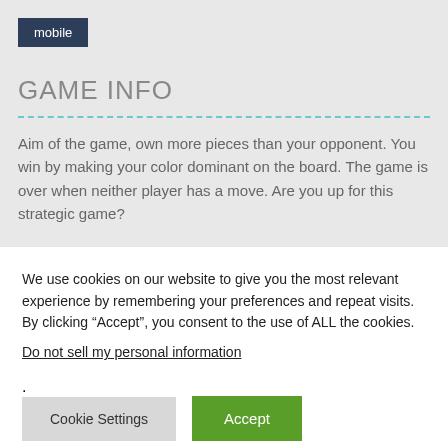mobile
GAME INFO
Aim of the game, own more pieces than your opponent. You win by making your color dominant on the board. The game is over when neither player has a move. Are you up for this strategic game?
We use cookies on our website to give you the most relevant experience by remembering your preferences and repeat visits. By clicking “Accept”, you consent to the use of ALL the cookies.
Do not sell my personal information.
Cookie Settings Accept